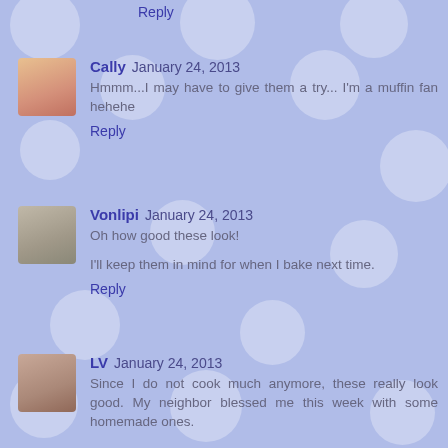Reply
Cally January 24, 2013
Hmmm...I may have to give them a try... I'm a muffin fan hehehe
Reply
Vonlipi January 24, 2013
Oh how good these look!

I'll keep them in mind for when I bake next time.
Reply
LV January 24, 2013
Since I do not cook much anymore, these really look good. My neighbor blessed me this week with some homemade ones.